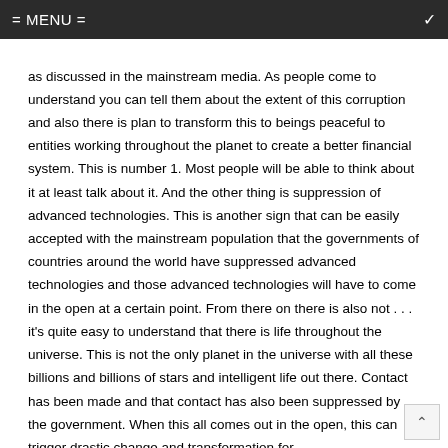= MENU =
as discussed in the mainstream media.  As people come to understand you can tell them about the extent of this corruption and also there is plan to transform this to beings peaceful to entities working throughout the planet to create a better financial system.  This is number 1.  Most people will be able to think about it at least talk about it.   And the other thing is suppression of advanced technologies.  This is another sign that can be easily accepted with the mainstream population that the governments of countries around the world have suppressed advanced technologies and those advanced technologies will have to come in the open at a certain point.  From there on there is also not . . . it's quite easy to understand that there is life throughout the universe.  This is not the only planet in the universe with all these billions and billions of stars and intelligent life out there.  Contact has been made and that contact has also been suppressed by the government.  When this all comes out in the open, this can trigger drastic change and transformation for